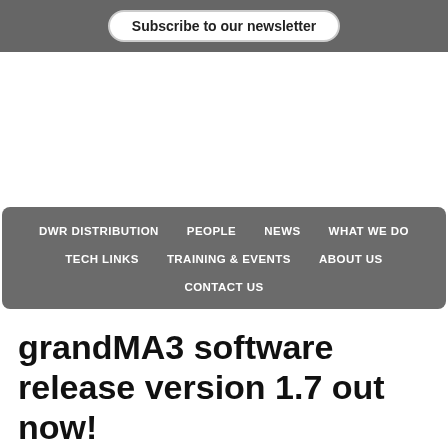Subscribe to our newsletter
[Figure (other): Advertisement/blank area]
DWR DISTRIBUTION  PEOPLE  NEWS  WHAT WE DO  TECH LINKS  TRAINING & EVENTS  ABOUT US  CONTACT US
grandMA3 software release version 1.7 out now!
May 16, 2022 by DWR Team ·